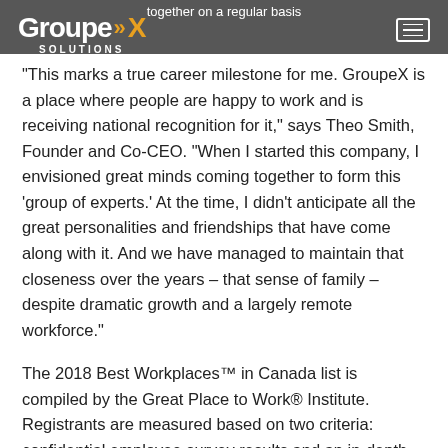together on a regular basis
[Figure (logo): GroupeX Solutions logo with orange chevron arrows, white text on dark nav bar]
"This marks a true career milestone for me. GroupeX is a place where people are happy to work and is receiving national recognition for it," says Theo Smith, Founder and Co-CEO. "When I started this company, I envisioned great minds coming together to form this 'group of experts.' At the time, I didn't anticipate all the great personalities and friendships that have come along with it. And we have managed to maintain that closeness over the years – that sense of family – despite dramatic growth and a largely remote workforce."
The 2018 Best Workplaces™ in Canada list is compiled by the Great Place to Work® Institute. Registrants are measured based on two criteria: confidential employee survey results and an in-depth review of the organization's culture. The process offers a rigorous representation of an organization from an employee perspective, and an overall portrait of the workplace culture. Together, they provide crucial data relative to five